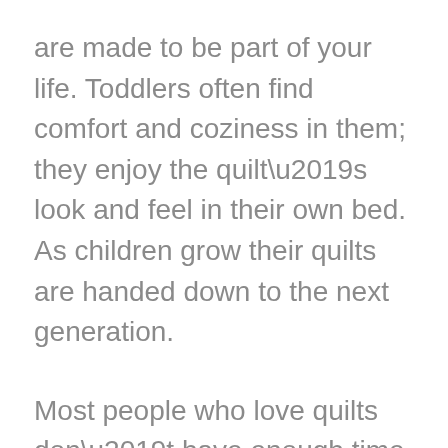are made to be part of your life. Toddlers often find comfort and coziness in them; they enjoy the quilt’s look and feel in their own bed. As children grow their quilts are handed down to the next generation.
Most people who love quilts don’t have enough time to finish stitching their quilt. They usually end up stored in the sewing room or closet. Fiddlehead Quiltworks can help you turn your quilt